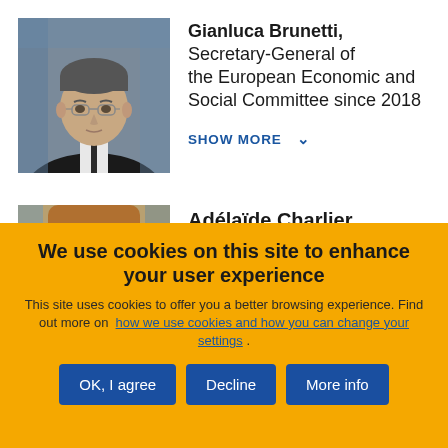[Figure (photo): Headshot photo of Gianluca Brunetti, a man with glasses in a dark suit]
Gianluca Brunetti, Secretary-General of the European Economic and Social Committee since 2018
SHOW MORE ↓
[Figure (photo): Partial headshot photo of Adélaïde Charlier]
Adélaïde Charlier,
We use cookies on this site to enhance your user experience
This site uses cookies to offer you a better browsing experience. Find out more on how we use cookies and how you can change your settings .